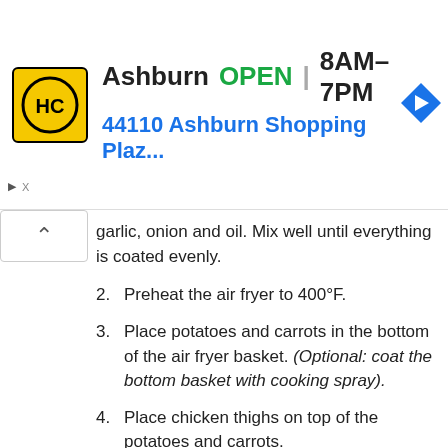[Figure (infographic): Ad banner for HC (Honest-1 or similar) auto/home services: logo (yellow square with HC in black circle), business name Ashburn, OPEN label in green, hours 8AM-7PM, address 44110 Ashburn Shopping Plaz..., navigation arrow icon]
garlic, onion and oil. Mix well until everything is coated evenly.
2. Preheat the air fryer to 400°F.
3. Place potatoes and carrots in the bottom of the air fryer basket. (Optional: coat the bottom basket with cooking spray).
4. Place chicken thighs on top of the potatoes and carrots.
5. Air fry for 25 minutes at 400°F (make sure to flip after 15 minutes).
Serve and enjoy!
VIDEO